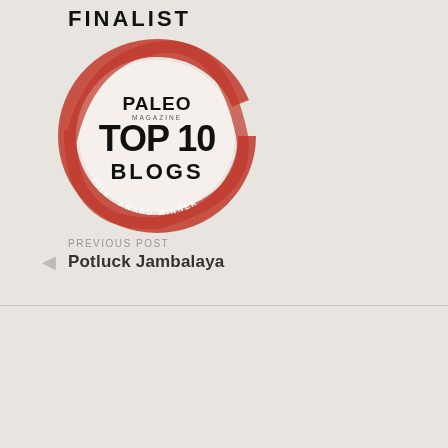FINALIST
[Figure (logo): Paleo Magazine Top 10 Blogs 2014 Award Winner badge — circular red brush-stroke border with text 'PALEO TOP 10 BLOGS' and '2014 AWARD WINNER' around the rim]
PREVIOUS POST
Potluck Jambalaya
NEXT POST
Poronkäristys (Sautéed Reindeer)